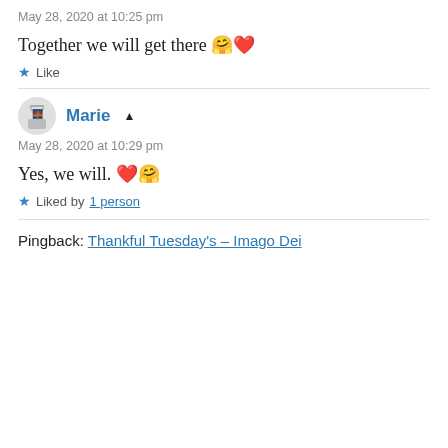May 28, 2020 at 10:25 pm
Together we will get there 🤗❤️
★ Like
Marie ▲
May 28, 2020 at 10:29 pm
Yes, we will. ❤️🤗
★ Liked by 1 person
Pingback: Thankful Tuesday's – Imago Dei